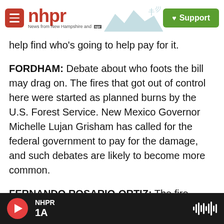NHPR — News from New Hampshire and NPR | Support
help find who's going to help pay for it.
FORDHAM: Debate about who foots the bill may drag on. The fires that got out of control here were started as planned burns by the U.S. Forest Service. New Mexico Governor Michelle Lujan Grisham has called for the federal government to pay for the damage, and such debates are likely to become more common.
FERNANDO ROSARIO-ORTIZ: The fire season you keep hearing - that used to be so many months over the summer. Now, we're getting to be year-round
NHPR 1A